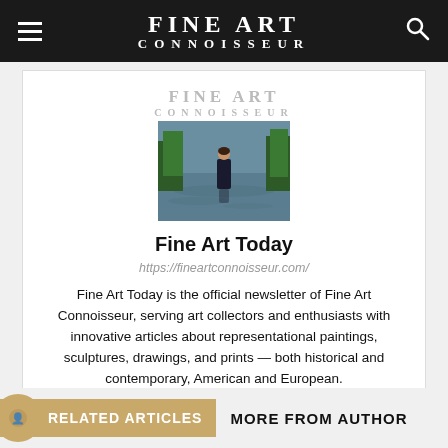FINE ART CONNOISSEUR
[Figure (logo): Fine Art Connoisseur logo with text above and magazine cover photo below showing a figure standing in a river]
Fine Art Today
https://fineartconnoisseur.com/
Fine Art Today is the official newsletter of Fine Art Connoisseur, serving art collectors and enthusiasts with innovative articles about representational paintings, sculptures, drawings, and prints — both historical and contemporary, American and European.
RELATED ARTICLES
MORE FROM AUTHOR